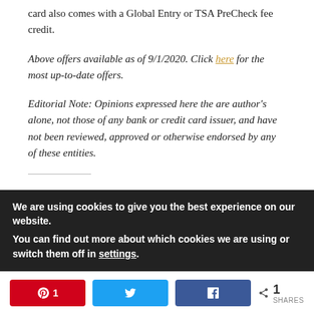card also comes with a Global Entry or TSA PreCheck fee credit.
Above offers available as of 9/1/2020. Click here for the most up-to-date offers.
Editorial Note: Opinions expressed here the are author’s alone, not those of any bank or credit card issuer, and have not been reviewed, approved or otherwise endorsed by any of these entities.
We are using cookies to give you the best experience on our website.
You can find out more about which cookies we are using or switch them off in settings.